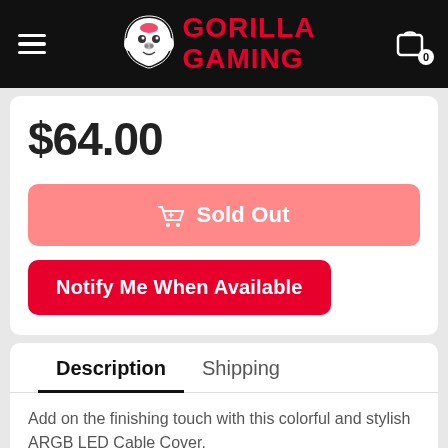[Figure (logo): Gorilla Gaming logo with gorilla head icon and red bold text 'GORILLA GAMING' on black header bar]
$64.00
🛒 Sold Out
Notify Me When Available
Description
Shipping
Add on the finishing touch with this colorful and stylish ARGB LED Cable Cover.